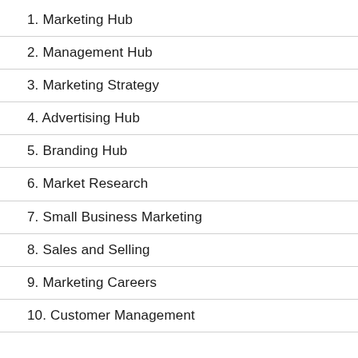1. Marketing Hub
2. Management Hub
3. Marketing Strategy
4. Advertising Hub
5. Branding Hub
6. Market Research
7. Small Business Marketing
8. Sales and Selling
9. Marketing Careers
10. Customer Management